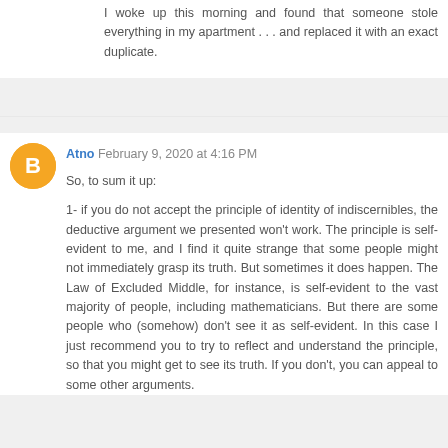I woke up this morning and found that someone stole everything in my apartment . . . and replaced it with an exact duplicate.
Atno February 9, 2020 at 4:16 PM
So, to sum it up:
1- if you do not accept the principle of identity of indiscernibles, the deductive argument we presented won't work. The principle is self-evident to me, and I find it quite strange that some people might not immediately grasp its truth. But sometimes it does happen. The Law of Excluded Middle, for instance, is self-evident to the vast majority of people, including mathematicians. But there are some people who (somehow) don't see it as self-evident. In this case I just recommend you to try to reflect and understand the principle, so that you might get to see its truth. If you don't, you can appeal to some other arguments.